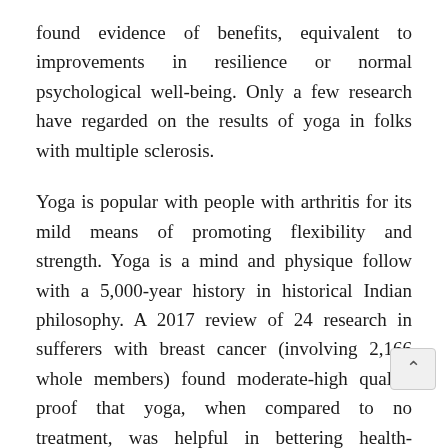found evidence of benefits, equivalent to improvements in resilience or normal psychological well-being. Only a few research have regarded on the results of yoga in folks with multiple sclerosis.
Yoga is popular with people with arthritis for its mild means of promoting flexibility and strength. Yoga is a mind and physique follow with a 5,000-year history in historical Indian philosophy. A 2017 review of 24 research in sufferers with breast cancer (involving 2,166 whole members) found moderate-high quality proof that yoga, when compared to no treatment, was helpful in bettering health-associated high quality of life and decreasing fatigue and sleep disturbances.
Let our excellent on-line yoga classes, columns, and tutorials support your practice. It is higher to start with a class to learn the poses and respiration techniques